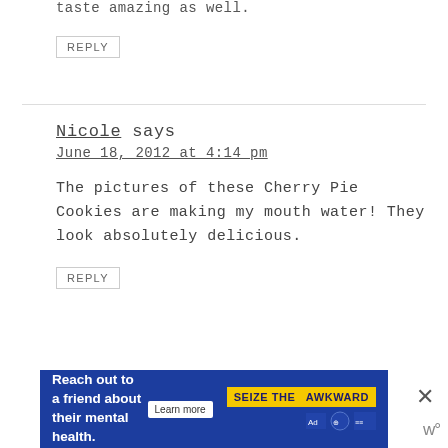taste amazing as well.
REPLY
Nicole says
June 18, 2012 at 4:14 pm
The pictures of these Cherry Pie Cookies are making my mouth water! They look absolutely delicious.
REPLY
[Figure (infographic): Advertisement banner: 'Reach out to a friend about their mental health. Learn more' with 'SEIZE THE AWKWARD' yellow badge and Ad Council logos, blue background with close button X.]